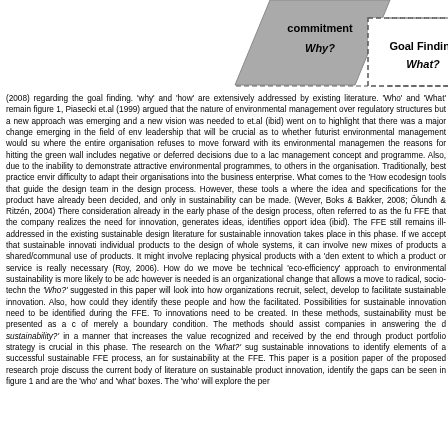[Figure (flowchart): Partial diagram showing two boxes: a gray trapezoid labeled 'commitment Why?' and a dashed box labeled 'Goal Finding What?' positioned at top of page, partially cut off.]
(2008) regarding the goal finding. 'why' and 'how' are extensively addressed by existing literature. 'Who' and 'What' remain figure 1, Piasecki et.al (1999) argued that the nature of environmental management over regulatory structures but a new approach was emerging and a new vision was needed to et.al (ibid) went on to highlight that there was a major change emerging in the field of env leadership that will be crucial as to whether futurist environmental management would su where the entire organisation refuses to move forward with its environmental managemen the reasons for hitting the green wall includes negative or deferred decisions due to a lac management concept and programme. Also, due to the inability to demonstrate attractive environmental programmes, to others in the organisation. Traditionally, best practice envir difficulty to adapt their organisations into the business enterprise. What comes to the 'How ecodesign tools that guide the design team in the design process. However, these tools a where the idea and specifications for the product have already been decided, and only in sustainability can be made. (Wever, Boks & Bakker, 2008; Ölundh & Ritzén, 2004) There consideration already in the early phase of the design process, often referred to as the fu FFE that the company realizes the need for innovation, generates ideas, identifies opportu idea (ibid). The FFE still remains ill-addressed in the existing sustainable design literature for sustainable innovation takes place in this phase. If we accept that sustainable innovati individual products to the design of whole systems, it can involve new mixes of products a shared/communal use of products. It might involve replacing physical products with a 'den extent to which a product or service is really necessary (Roy, 2006). How do we move be technical 'eco-efficiency' approach to environmental sustainability is more likely to be adc however is needed is an organizational change that allows a move to radical, socio-techn the 'Who?' suggested in this paper will look into how organizations recruit, select, develop to facilitate sustainable innovation. Also, how could they identify these people and how the facilitated. Possibilities for sustainable innovation need to be identified during the FFE. To innovations need to be created. In these methods, sustainability must be presented as a c of merely a boundary condition. The methods should assist companies in answering the d sustainability?' in a manner that increases the value recognized and received by the end through product portfolio strategy is crucial in this phase. The research on the 'What?' sug sustainable innovations to identify elements of a successful sustainable FFE process, an for sustainability at the FFE. This paper is a position paper of the proposed research proje discuss the current body of literature on sustainable product innovation, identify the gaps can be seen in figure 1 and are the 'who' and 'what' boxes. The 'who' will explore the per